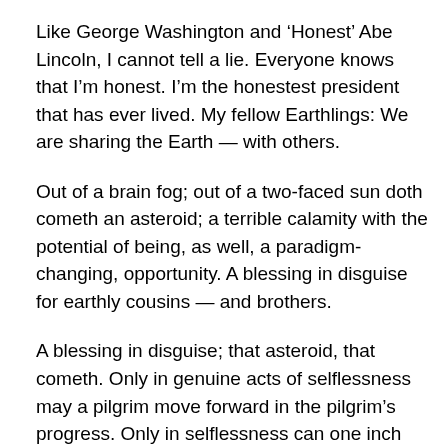Like George Washington and ‘Honest’ Abe Lincoln, I cannot tell a lie. Everyone knows that I’m honest. I’m the honestest president that has ever lived. My fellow Earthlings: We are sharing the Earth — with others.
Out of a brain fog; out of a two-faced sun doth cometh an asteroid; a terrible calamity with the potential of being, as well, a paradigm-changing, opportunity. A blessing in disguise for earthly cousins — and brothers.
A blessing in disguise; that asteroid, that cometh. Only in genuine acts of selflessness may a pilgrim move forward in the pilgrim’s progress. Only in selflessness can one inch forward, in the pilgrim’s progress, albeit, slowly.
One such act of selflessness stands out to me; an